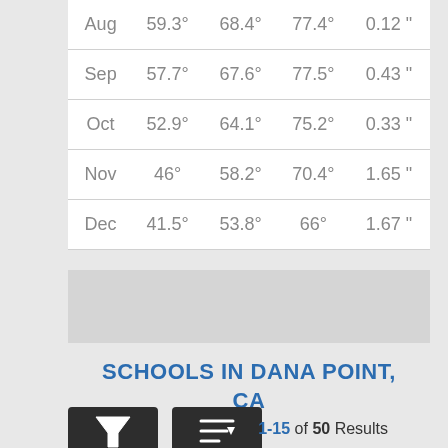| Month | Low | Avg | High | Precip |
| --- | --- | --- | --- | --- |
| Aug | 59.3° | 68.4° | 77.4° | 0.12 " |
| Sep | 57.7° | 67.6° | 77.5° | 0.43 " |
| Oct | 52.9° | 64.1° | 75.2° | 0.33 " |
| Nov | 46° | 58.2° | 70.4° | 1.65 " |
| Dec | 41.5° | 53.8° | 66° | 1.67 " |
[Figure (other): Gray placeholder box]
SCHOOLS IN DANA POINT, CA
[Figure (infographic): Two dark buttons: a funnel/filter icon button and a sort/order icon button]
1-15 of 50 Results